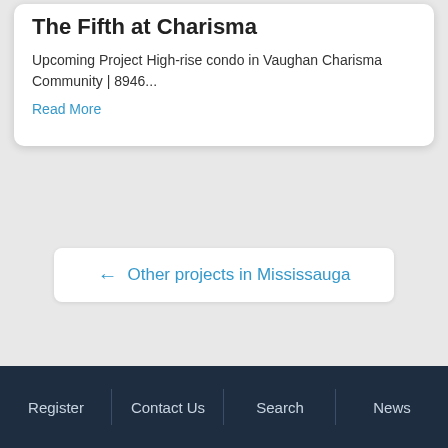The Fifth at Charisma
Upcoming Project High-rise condo in Vaughan Charisma Community | 8946...
Read More
← Other projects in Mississauga
Register | Contact Us | Search | News